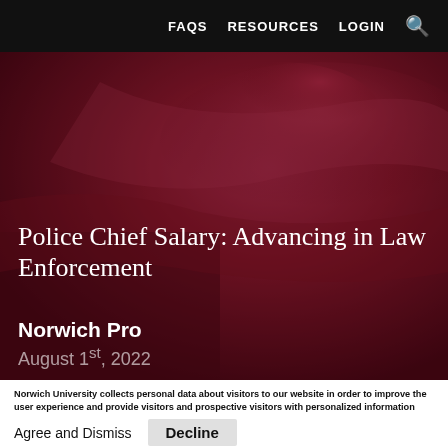FAQS   RESOURCES   LOGIN   🔍
[Figure (photo): Dark red/maroon background showing a close-up of a shiny red car surface, used as hero image for the article]
Police Chief Salary: Advancing in Law Enforcement
Norwich Pro
August 1st, 2022
Norwich University collects personal data about visitors to our website in order to improve the user experience and provide visitors and prospective visitors with personalized information about our programs and services. By using our site, you acknowledge that you accept the information policies and practices outlined in our Privacy Notice. More info
Agree and Dismiss   Decline